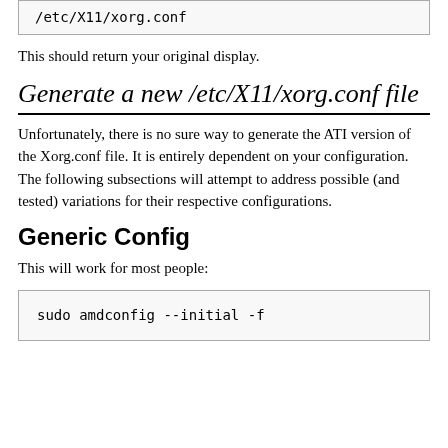/etc/X11/xorg.conf
This should return your original display.
Generate a new /etc/X11/xorg.conf file
Unfortunately, there is no sure way to generate the ATI version of the Xorg.conf file. It is entirely dependent on your configuration. The following subsections will attempt to address possible (and tested) variations for their respective configurations.
Generic Config
This will work for most people:
sudo amdconfig --initial -f